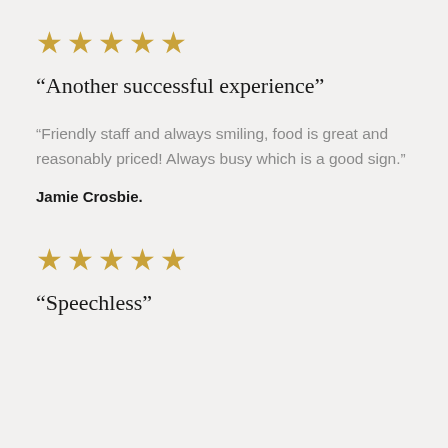[Figure (other): Five gold star rating icons]
“Another successful experience”
“Friendly staff and always smiling, food is great and reasonably priced! Always busy which is a good sign.”
Jamie Crosbie.
[Figure (other): Five gold star rating icons]
“Speechless”